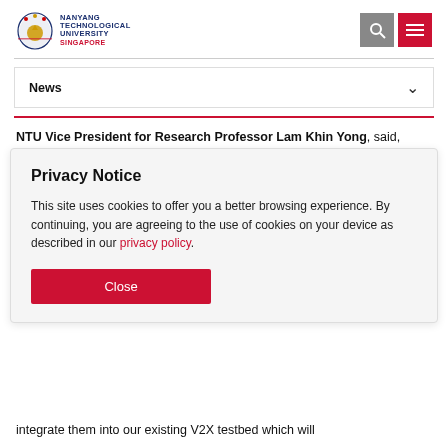Nanyang Technological University Singapore
News
NTU Vice President for Research Professor Lam Khin Yong, said, "NTU is a world leader in smart mobility
Privacy Notice
This site uses cookies to offer you a better browsing experience. By continuing, you are agreeing to the use of cookies on your device as described in our privacy policy.
Close
integrate them into our existing V2X testbed which will